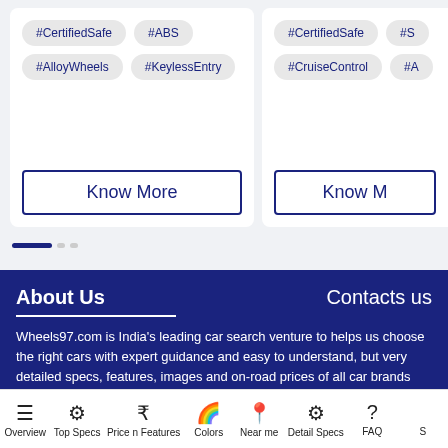#CertifiedSafe
#ABS
#AlloyWheels
#KeylessEntry
Know More
#CertifiedSafe
#S...
#CruiseControl
#A...
Know M...
About Us
Contacts us
Wheels97.com is India's leading car search venture to helps us choose the right cars with expert guidance and easy to understand, but very detailed specs, features, images and on-road prices of all car brands and models available in India. The company has tie-ups with many auto dealers across India to facilitate direct information about car model price availability...
Overview | Top Specs | Price n Features | Colors | Near me | Detail Specs | FAQ | S...